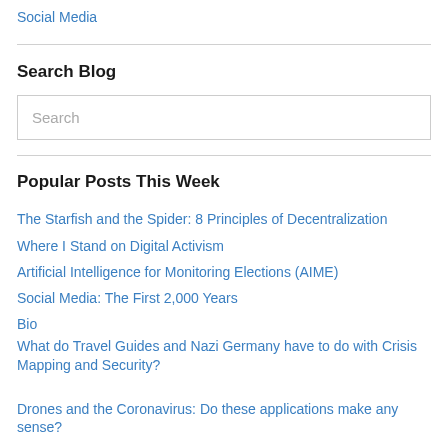Social Media
Search Blog
Search
Popular Posts This Week
The Starfish and the Spider: 8 Principles of Decentralization
Where I Stand on Digital Activism
Artificial Intelligence for Monitoring Elections (AIME)
Social Media: The First 2,000 Years
Bio
What do Travel Guides and Nazi Germany have to do with Crisis Mapping and Security?
Drones and the Coronavirus: Do these applications make any sense?